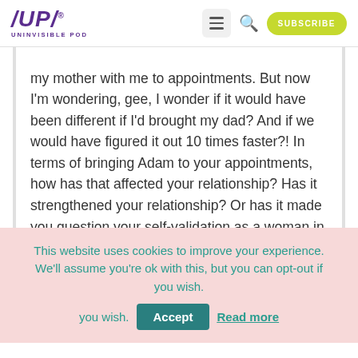/UP/ UNINVISIBLE POD — navigation header with menu, search, and SUBSCRIBE button
my mother with me to appointments. But now I'm wondering, gee, I wonder if it would have been different if I'd brought my dad? And if we would have figured it out 10 times faster?! In terms of bringing Adam to your appointments, how has that affected your relationship? Has it strengthened your relationship? Or has it made you question your self-validation as a woman in the world … how has that looked for you?
This website uses cookies to improve your experience. We'll assume you're ok with this, but you can opt-out if you wish.  Accept  Read more